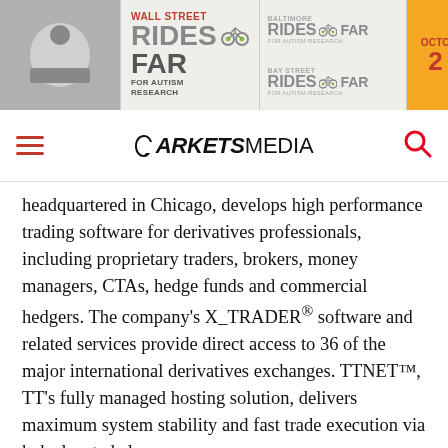[Figure (illustration): Wall Street Rides Far for Autism Research banner advertisement with bicycle graphic, Baltimore Rides Far and Bay Street Rides Far logos on right side, and orange October date panel]
[Figure (logo): Markets Media navigation bar with hamburger menu icon, Markets Media logo in center, and red search icon on right]
headquartered in Chicago, develops high performance trading software for derivatives professionals, including proprietary traders, brokers, money managers, CTAs, hedge funds and commercial hedgers. The company's X_TRADER® software and related services provide direct access to 36 of the major international derivatives exchanges. TTNET™, TT's fully managed hosting solution, delivers maximum system stability and fast trade execution via hubs located close